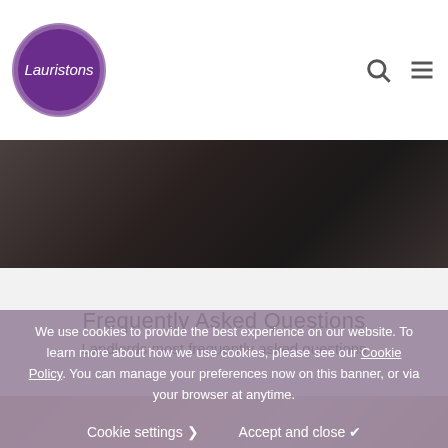[Figure (logo): Lauristons logo - circular purple badge with white italic text 'Lauristons']
[Figure (photo): Dark moody hero banner image showing blurred dark objects]
Frequently Asked Questions
Landlords most frequently asked questions
[Figure (photo): Partial warm-toned image strip at bottom]
We use cookies to provide the best experience on our website. To learn more about how we use cookies, please see our Cookie Policy. You can manage your preferences now on this banner, or via your browser at anytime.
Cookie settings ❯   Accept and close ✔